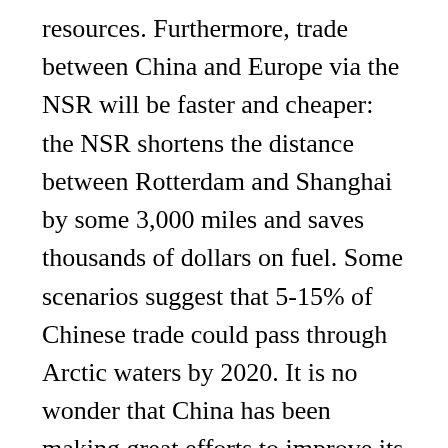resources. Furthermore, trade between China and Europe via the NSR will be faster and cheaper: the NSR shortens the distance between Rotterdam and Shanghai by some 3,000 miles and saves thousands of dollars on fuel. Some scenarios suggest that 5-15% of Chinese trade could pass through Arctic waters by 2020. It is no wonder that China has been making great efforts to improve its relationships with Arctic Circle states.
Yet despite all its advances into the region China is not an Arctic Circle state and it does not sit on the Arctic Council, which currently consists